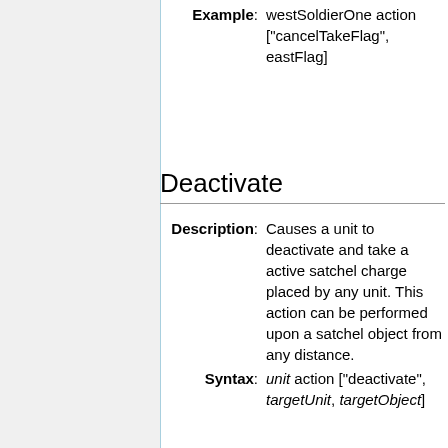Example: westSoldierOne action ["cancelTakeFlag", eastFlag]
Deactivate
Description: Causes a unit to deactivate and take a active satchel charge placed by any unit. This action can be performed upon a satchel object from any distance.
Syntax: unit action ["deactivate", targetUnit, targetObject]